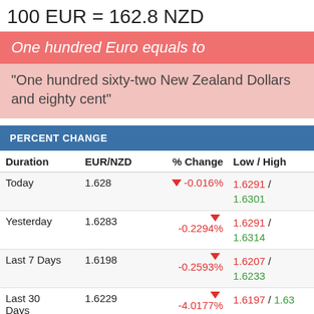100 EUR = 162.8 NZD
One hundred Euro equals to
“One hundred sixty-two New Zealand Dollars and eighty cent”
PERCENT CHANGE
| Duration | EUR/NZD | % Change | Low / High |
| --- | --- | --- | --- |
| Today | 1.628 | -0.016% | 1.6291 / 1.6301 |
| Yesterday | 1.6283 | -0.2294% | 1.6291 / 1.6314 |
| Last 7 Days | 1.6198 | -0.2593% | 1.6207 / 1.6233 |
| Last 30 Days | 1.6229 | -4.0177% | 1.6197 / 1.63 |